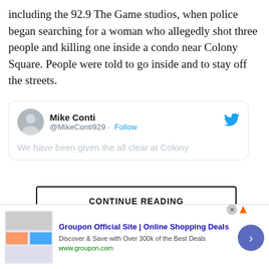including the 92.9 The Game studios, when police began searching for a woman who allegedly shot three people and killing one inside a condo near Colony Square. People were told to go inside and to stay off the streets.
[Figure (screenshot): Embedded tweet from Mike Conti (@MikeConti929) with a Follow link and Twitter bird icon. Tweet text is partially visible: 'We have been given the all clear at Colony']
CONTINUE READING
[Figure (screenshot): Video widget showing 'Seller 2 Seller' podcast episode thumbnail with green background reading 'EPISODE SEVEN: REZA HARIRI, MELO & ESTRA MEDIA']
[Figure (screenshot): Advertisement banner: Groupon Official Site | Online Shopping Deals. Discover & Save with Over 300k of the Best Deals. www.groupon.com]